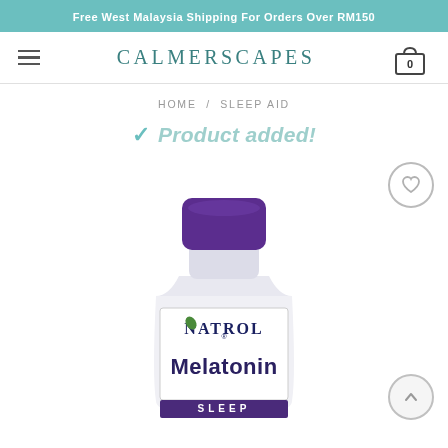Free West Malaysia Shipping For Orders Over RM150
CALMERSCAPES
HOME / SLEEP AID
✓ Product added!
[Figure (photo): Natrol Melatonin Sleep supplement bottle with purple cap, partially cropped at bottom of page]